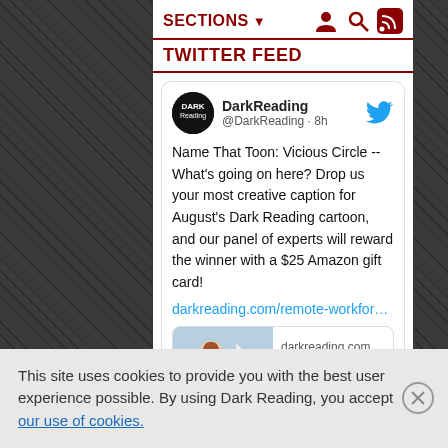SECTIONS
TWITTER FEED
DarkReading @DarkReading · 8h
Name That Toon: Vicious Circle -- What's going on here? Drop us your most creative caption for August's Dark Reading cartoon, and our panel of experts will reward the winner with a $25 Amazon gift card!
darkreading.com/remote-workfor…
[Figure (screenshot): Link preview card showing a cartoon illustration of a person at a desk with darkreading.com domain and title 'Name That Toon:']
This site uses cookies to provide you with the best user experience possible. By using Dark Reading, you accept our use of cookies.